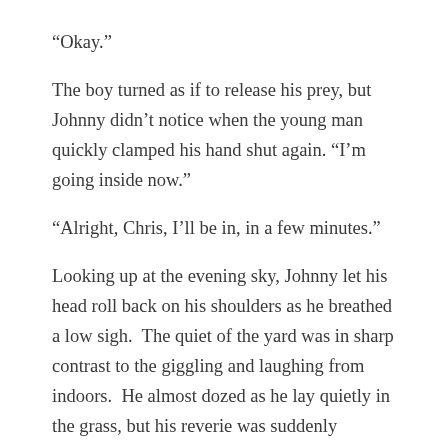“Okay.”
The boy turned as if to release his prey, but Johnny didn’t notice when the young man quickly clamped his hand shut again. “I’m going inside now.”
“Alright, Chris, I’ll be in, in a few minutes.”
Looking up at the evening sky, Johnny let his head roll back on his shoulders as he breathed a low sigh.  The quiet of the yard was in sharp contrast to the giggling and laughing from indoors.  He almost dozed as he lay quietly in the grass, but his reverie was suddenly interrupted by the shrieks from the house.
Jumping up, Johnny raced towards the doorway only to be met by several girls charging into him.  As he